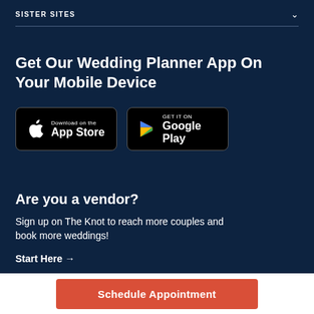SISTER SITES
Get Our Wedding Planner App On Your Mobile Device
[Figure (other): App store download buttons: Download on the App Store and Get it on Google Play]
Are you a vendor?
Sign up on The Knot to reach more couples and book more weddings!
Start Here →
Schedule Appointment